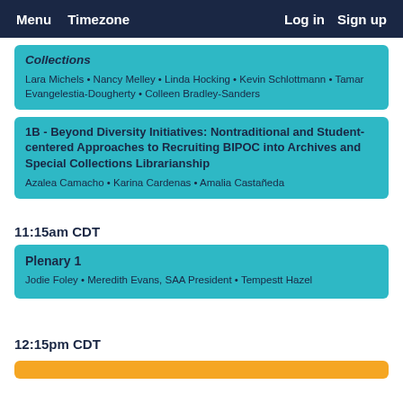Menu  Timezone  Log in  Sign up
Collections
Lara Michels • Nancy Melley • Linda Hocking • Kevin Schlottmann • Tamar Evangelestia-Dougherty • Colleen Bradley-Sanders
1B - Beyond Diversity Initiatives: Nontraditional and Student-centered Approaches to Recruiting BIPOC into Archives and Special Collections Librarianship
Azalea Camacho • Karina Cardenas • Amalia Castañeda
11:15am CDT
Plenary 1
Jodie Foley • Meredith Evans, SAA President • Tempestt Hazel
12:15pm CDT